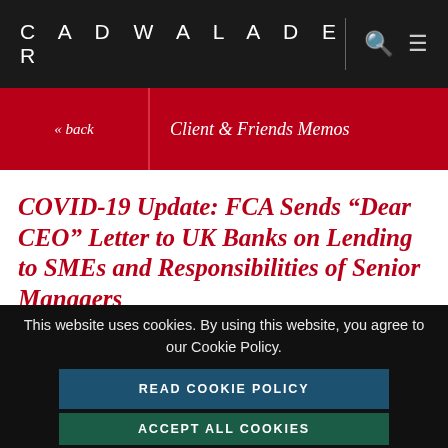CADWALADER
« back | Client & Friends Memos
COVID-19 Update: FCA Sends “Dear CEO” Letter to UK Banks on Lending to SMEs and Responsibilities of Senior Managers
This website uses cookies. By using this website, you agree to our Cookie Policy.
READ COOKIE POLICY
DECLINE ALL NON-ESSENTIAL COOKIES
ACCEPT ALL COOKIES